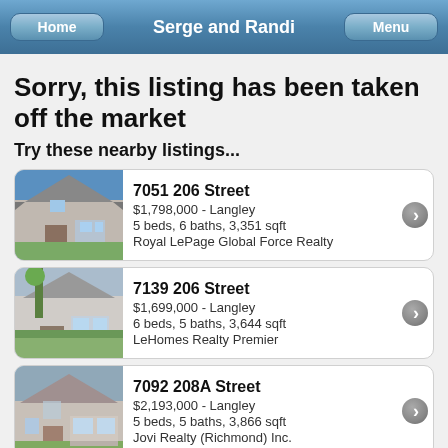Serge and Randi
Sorry, this listing has been taken off the market
Try these nearby listings...
7051 206 Street
$1,798,000 - Langley
5 beds, 6 baths, 3,351 sqft
Royal LePage Global Force Realty
7139 206 Street
$1,699,000 - Langley
6 beds, 5 baths, 3,644 sqft
LeHomes Realty Premier
7092 208A Street
$2,193,000 - Langley
5 beds, 5 baths, 3,866 sqft
Jovi Realty (Richmond) Inc.